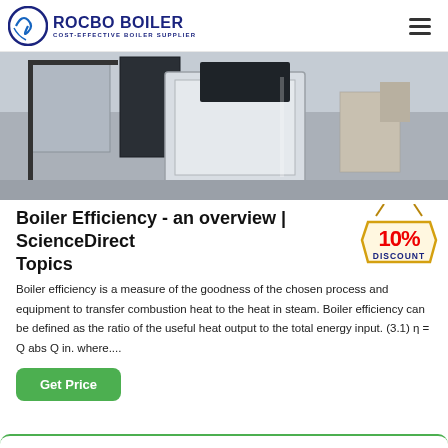ROCBO BOILER — COST-EFFECTIVE BOILER SUPPLIER
[Figure (photo): Photo of an industrial boiler unit in a facility, showing a large white and dark-colored boiler machine on a concrete floor.]
Boiler Efficiency - an overview | ScienceDirect Topics
Boiler efficiency is a measure of the goodness of the chosen process and equipment to transfer combustion heat to the heat in steam. Boiler efficiency can be defined as the ratio of the useful heat output to the total energy input. (3.1) η = Q abs Q in. where....
Get Price